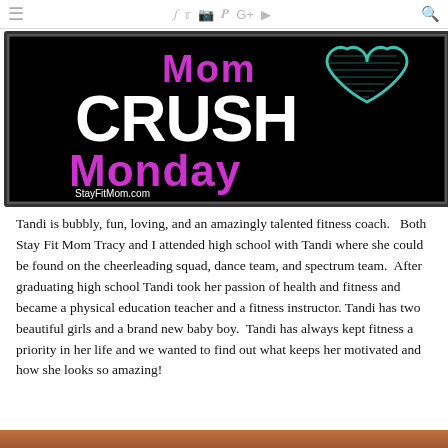≡  f  t  ☐  ℗  G+  ▶  🔍
[Figure (illustration): Mom Crush Monday banner image on black background with purple text 'Mom', large white text 'CRUSH', purple text 'Monday', a teal heart outline, and 'StayFitMom.com' URL]
Tandi is bubbly, fun, loving, and an amazingly talented fitness coach.   Both Stay Fit Mom Tracy and I attended high school with Tandi where she could be found on the cheerleading squad, dance team, and spectrum team.  After graduating high school Tandi took her passion of health and fitness and became a physical education teacher and a fitness instructor. Tandi has two beautiful girls and a brand new baby boy.  Tandi has always kept fitness a priority in her life and we wanted to find out what keeps her motivated and how she looks so amazing!
[Figure (photo): Partial photo visible at bottom of page, appears to be a person]